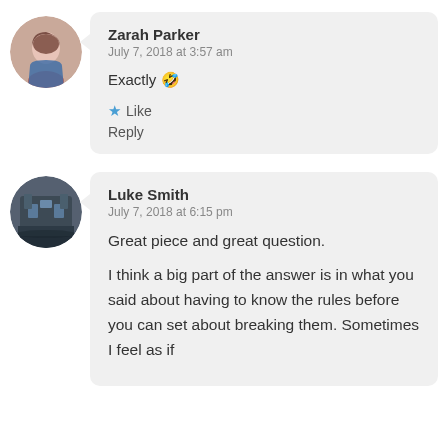[Figure (photo): Circular avatar photo of Zarah Parker, a young woman with long hair]
Zarah Parker
July 7, 2018 at 3:57 am

Exactly 🤣

★ Like
Reply
[Figure (photo): Circular avatar photo of Luke Smith, showing a castle building at dusk]
Luke Smith
July 7, 2018 at 6:15 pm

Great piece and great question.

I think a big part of the answer is in what you said about having to know the rules before you can set about breaking them. Sometimes I feel as if